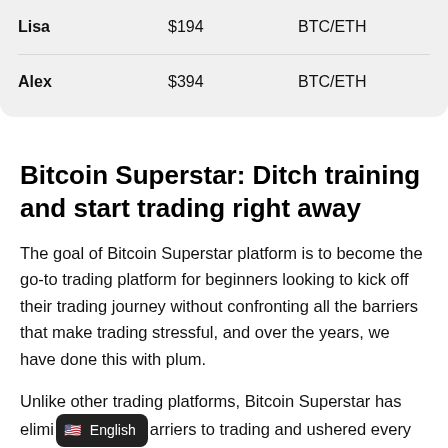| Name | Amount | Pair |
| --- | --- | --- |
| Lisa | $194 | BTC/ETH |
| Alex | $394 | BTC/ETH |
Bitcoin Superstar: Ditch training and start trading right away
The goal of Bitcoin Superstar platform is to become the go-to trading platform for beginners looking to kick off their trading journey without confronting all the barriers that make trading stressful, and over the years, we have done this with plum.
Unlike other trading platforms, Bitcoin Superstar has eliminated barriers to trading and ushered every trader looking for a headway in this industry into the fold.